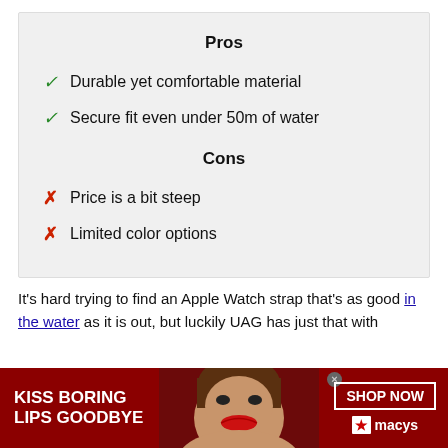Pros
Durable yet comfortable material
Secure fit even under 50m of water
Cons
Price is a bit steep
Limited color options
It's hard trying to find an Apple Watch strap that's as good in the water as it is out, but luckily UAG has just that with
[Figure (photo): Advertisement banner for Macy's with text 'KISS BORING LIPS GOODBYE', a woman's face with red lipstick, 'SHOP NOW' button, and Macy's star logo on dark red background]